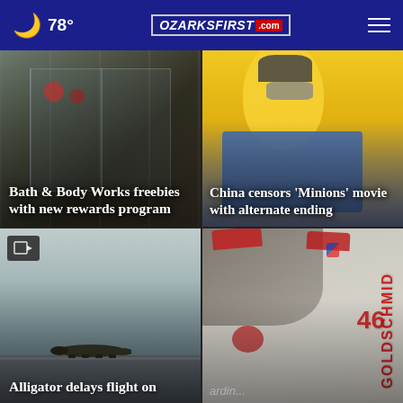78° | OzarksFirst.com
[Figure (photo): Bath & Body Works store exterior with glass doors, holiday decorations visible inside]
Bath & Body Works freebies with new rewards program
[Figure (photo): Minion mascot character in yellow with overalls and mask]
China censors 'Minions' movie with alternate ending
[Figure (photo): Video: Alligator crossing a road or runway in foggy conditions]
Alligator delays flight on
[Figure (photo): St. Louis Cardinals baseball players including Goldschmidt #46 in white uniforms]